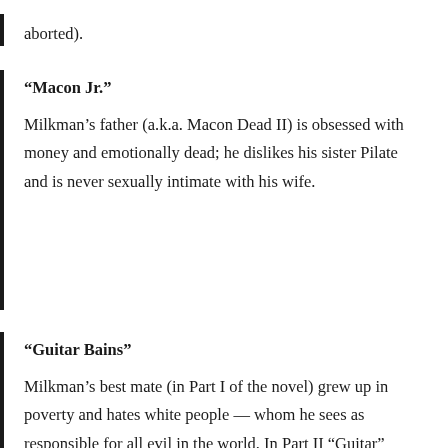aborted).
“Macon Jr.”
Milkman’s father (a.k.a. Macon Dead II) is obsessed with money and emotionally dead; he dislikes his sister Pilate and is never sexually intimate with his wife.
“Guitar Bains”
Milkman’s best mate (in Part I of the novel) grew up in poverty and hates white people — whom he sees as responsible for all evil in the world. In Part II “Guitar” becomes Milkman’s enemy and seeks to murder him.